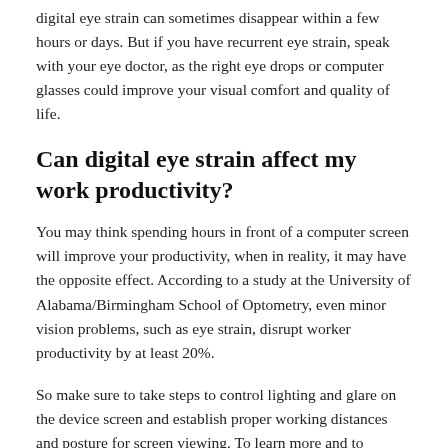digital eye strain can sometimes disappear within a few hours or days. But if you have recurrent eye strain, speak with your eye doctor, as the right eye drops or computer glasses could improve your visual comfort and quality of life.
Can digital eye strain affect my work productivity?
You may think spending hours in front of a computer screen will improve your productivity, when in reality, it may have the opposite effect. According to a study at the University of Alabama/Birmingham School of Optometry, even minor vision problems, such as eye strain, disrupt worker productivity by at least 20%.
So make sure to take steps to control lighting and glare on the device screen and establish proper working distances and posture for screen viewing. To learn more and to alleviate or prevent eye strain, contact Clarity Vision Centre today.